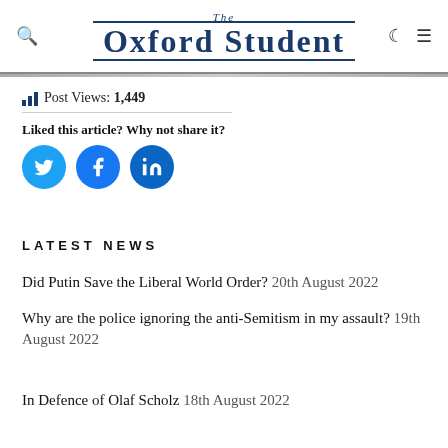The Oxford Student
Post Views: 1,449
Liked this article? Why not share it?
[Figure (other): Social share icons: Twitter, Facebook, LinkedIn]
Latest News
Did Putin Save the Liberal World Order? 20th August 2022
Why are the police ignoring the anti-Semitism in my assault? 19th August 2022
In Defence of Olaf Scholz 18th August 2022